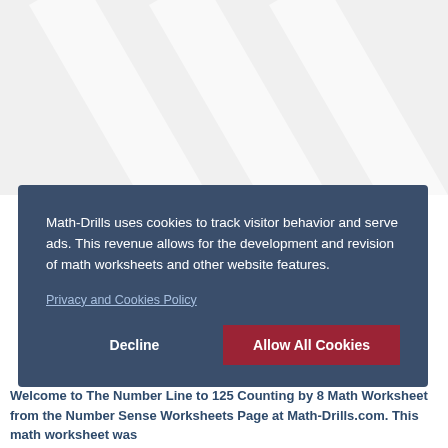[Figure (other): Light gray background with diagonal white stripe pattern in top section of page]
Math-Drills uses cookies to track visitor behavior and serve ads. This revenue allows for the development and revision of math worksheets and other website features.
Privacy and Cookies Policy
Decline
Allow All Cookies
Welcome to The Number Line to 125 Counting by 8 Math Worksheet from the Number Sense Worksheets Page at Math-Drills.com. This math worksheet was